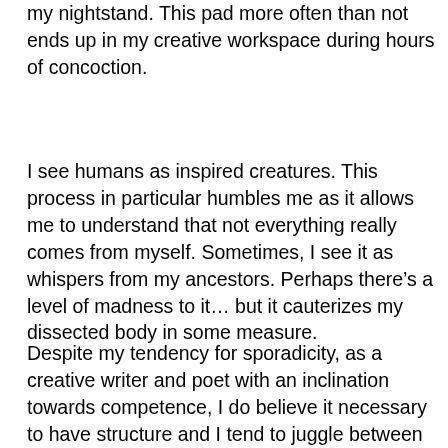my nightstand. This pad more often than not ends up in my creative workspace during hours of concoction.
I see humans as inspired creatures. This process in particular humbles me as it allows me to understand that not everything really comes from myself. Sometimes, I see it as whispers from my ancestors. Perhaps there's a level of madness to it… but it cauterizes my dissected body in some measure.
Despite my tendency for sporadicity, as a creative writer and poet with an inclination towards competence, I do believe it necessary to have structure and I tend to juggle between two main projects at a time. As of right now, I'm currently editing my poetry collection manuscript, Citizenship in Water and philosophizing two potential